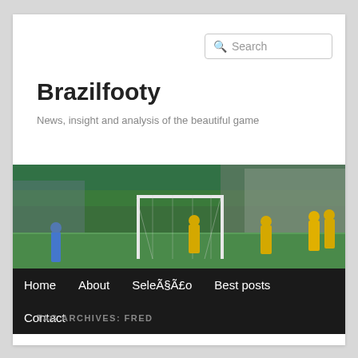Search
Brazilfooty
News, insight and analysis of the beautiful game
[Figure (photo): Soccer match photo showing a football pitch with goal posts, players in yellow jerseys, a goalkeeper in blue, and stadium crowd. Itaú advertisement banners visible along the pitch perimeter.]
Home
About
SeleÃ§Ã£o
Best posts
Contact
TAG ARCHIVES: FRED